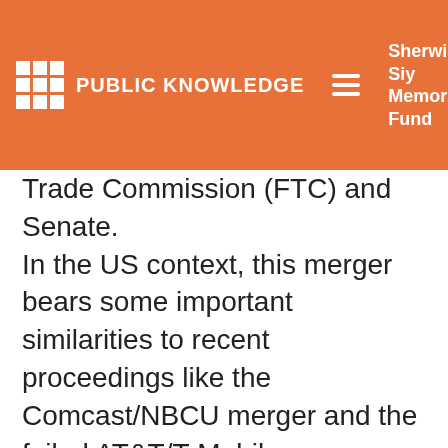PUBLIC KNOWLEDGE | Sherwin Siy Memorial Fund | Donate
Trade Commission (FTC) and Senate. In the US context, this merger bears some important similarities to recent proceedings like the Comcast/NBCU merger and the failed AT&T/T-Mobile merger.
Universal/EMI and AT&T/T-Mobile: Taking Over a Maverick Competitor
Just like AT&T's attempted takeover of T-Mobile, which Public Knowledge